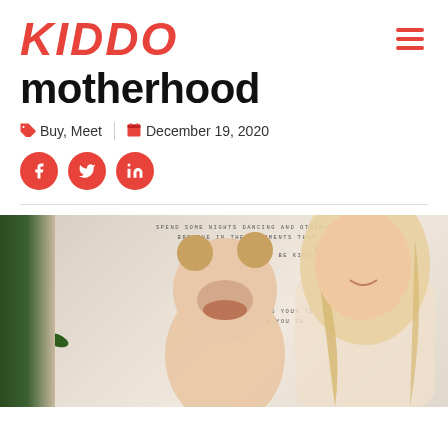KIDDO
motherhood
Buy, Meet | December 19, 2020
[Figure (photo): A mother and young toddler girl laughing together in front of a wall hanging with printed text. Green plant visible on the left side.]